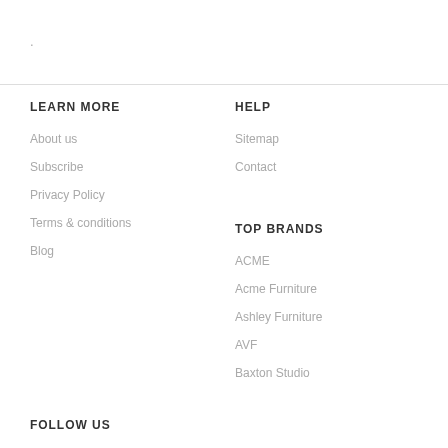.
LEARN MORE
About us
Subscribe
Privacy Policy
Terms & conditions
Blog
HELP
Sitemap
Contact
TOP BRANDS
ACME
Acme Furniture
Ashley Furniture
AVF
Baxton Studio
FOLLOW US